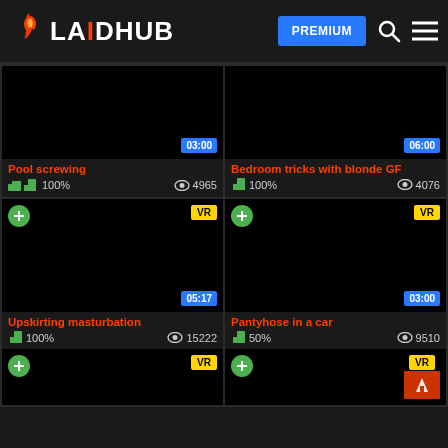LAIDHUB — PREMIUM
[Figure (screenshot): Video thumbnail black — Pool screwing, 03:00, 100%, 4965 views]
[Figure (screenshot): Video thumbnail black — Bedroom tricks with blonde GF, 06:00, 100%, 4076 views]
[Figure (screenshot): Video thumbnail black VR — Upskirting masturbation, 05:17, 100%, 15222 views]
[Figure (screenshot): Video thumbnail black VR — Pantyhose in a car, 03:00, 50%, 9510 views]
[Figure (screenshot): Video thumbnail black VR — partial, no title visible]
[Figure (screenshot): Video thumbnail black VR premium — partial, no title visible]